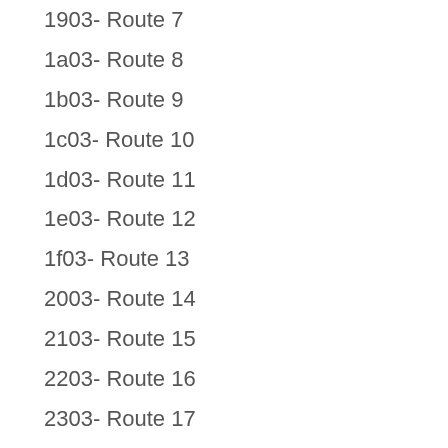1903- Route 7
1a03- Route 8
1b03- Route 9
1c03- Route 10
1d03- Route 11
1e03- Route 12
1f03- Route 13
2003- Route 14
2103- Route 15
2203- Route 16
2303- Route 17
2403- Route 18
2503- Route 19
2603- Route 20